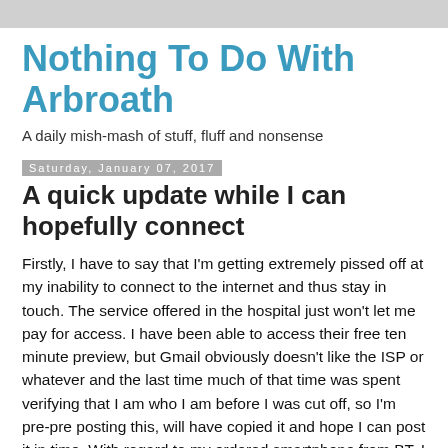Nothing To Do With Arbroath
A daily mish-mash of stuff, fluff and nonsense
Saturday, January 07, 2017
A quick update while I can hopefully connect
Firstly, I have to say that I'm getting extremely pissed off at my inability to connect to the internet and thus stay in touch. The service offered in the hospital just won't let me pay for access. I have been able to access their free ten minute preview, but Gmail obviously doesn't like the ISP or whatever and the last time much of that time was spent verifying that I am who I am before I was cut off, so I'm pre-pre posting this, will have copied it and hope I can post it in time. With regard to my ordered smartphone from BT, I haven't even received the courtesy of a text message, so